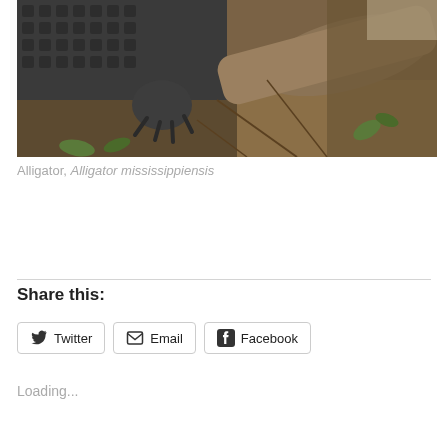[Figure (photo): Close-up photograph of an American Alligator (Alligator mississippiensis) resting on ground with leaves and branches. The alligator's scaly body and clawed foot are prominently visible.]
Alligator, Alligator mississippiensis
Share this:
Twitter  Email  Facebook
Loading...